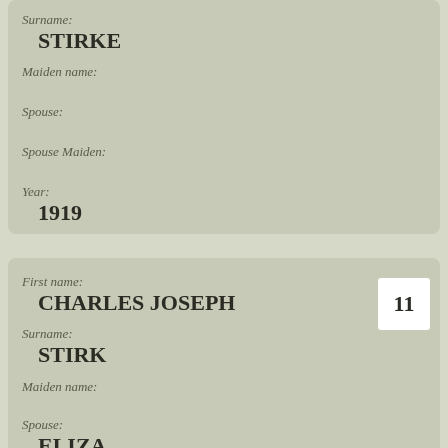Surname: STIRKE
Maiden name:
Spouse:
Spouse Maiden:
Year: 1919
First name: CHARLES JOSEPH
Surname: STIRK
Maiden name:
Spouse: ELIZA
Spouse Maiden:
Year: 1921